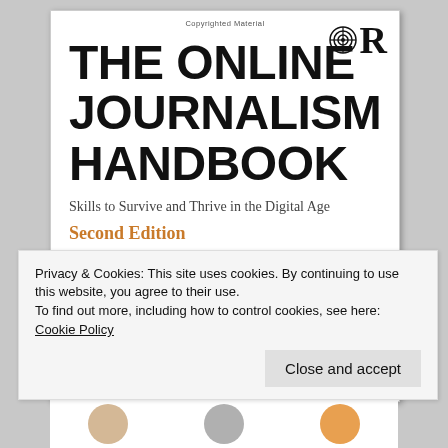[Figure (illustration): Book cover of 'The Online Journalism Handbook: Skills to Survive and Thrive in the Digital Age, Second Edition' with Routledge publisher logo. White background with large bold black title text, subtitle in serif, and 'Second Edition' in orange.]
Privacy & Cookies: This site uses cookies. By continuing to use this website, you agree to their use.
To find out more, including how to control cookies, see here: Cookie Policy
Close and accept